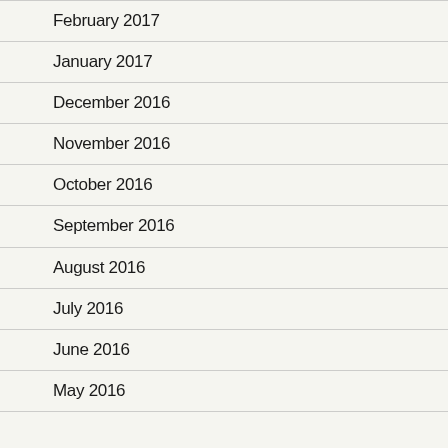February 2017
January 2017
December 2016
November 2016
October 2016
September 2016
August 2016
July 2016
June 2016
May 2016